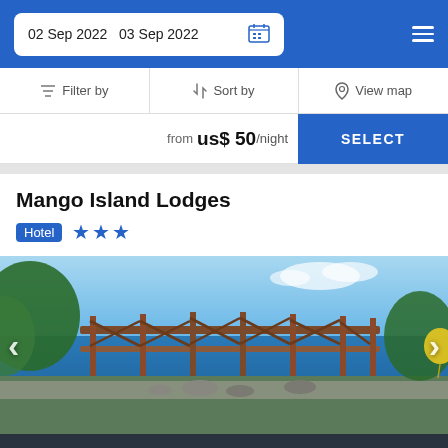02 Sep 2022  03 Sep 2022
Filter by   Sort by   View map
from us$ 50/night  SELECT
Mango Island Lodges
Hotel ★★★
[Figure (photo): Outdoor deck/bridge structure with metal railings overlooking a blue ocean, tropical vegetation visible]
Booked.net uses cookies that are strictly necessary for its functioning. We do not collect analytical and marketing cookies.